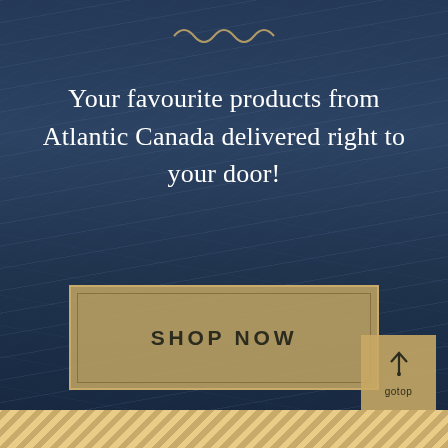[Figure (illustration): Decorative wavy line ornament at top center of page]
Your favourite products from Atlantic Canada delivered right to your door!
SHOP NOW
[Figure (infographic): Navigation left and right arrow buttons on semi-transparent background panels]
[Figure (infographic): Go to top button with upward arrow icon and 'gotop' label, gold background, bottom right corner]
[Figure (illustration): Diagonal striped gold/tan bar at bottom of page]